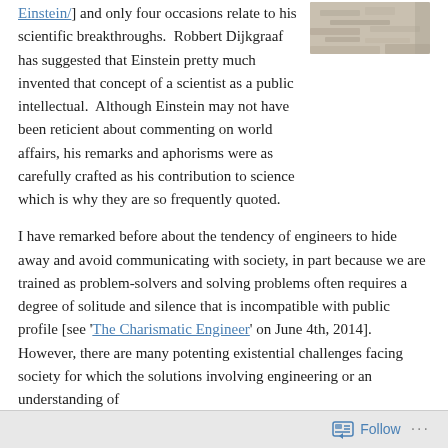Einstein/] and only four occasions relate to his scientific breakthroughs.  Robbert Dijkgraaf has suggested that Einstein pretty much invented that concept of a scientist as a public intellectual.  Although Einstein may not have been reticient about commenting on world affairs, his remarks and aphorisms were as carefully crafted as his contribution to science which is why they are so frequently quoted.
[Figure (photo): Partial photo of Einstein or a stone/concrete surface, cropped at top]
I have remarked before about the tendency of engineers to hide away and avoid communicating with society, in part because we are trained as problem-solvers and solving problems often requires a degree of solitude and silence that is incompatible with public profile [see 'The Charismatic Engineer' on June 4th, 2014].  However, there are many potenting existential challenges facing society for which the solutions involving engineering or an understanding of
Follow